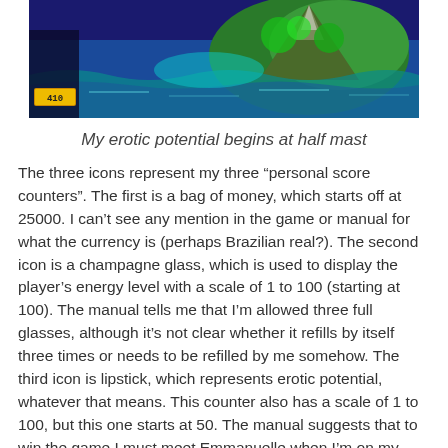[Figure (screenshot): A colorful retro video game screenshot showing a tropical/coastal scene with blue water, green landscape, and a status bar in the lower left corner.]
My erotic potential begins at half mast
The three icons represent my three “personal score counters”. The first is a bag of money, which starts off at 25000. I can’t see any mention in the game or manual for what the currency is (perhaps Brazilian real?). The second icon is a champagne glass, which is used to display the player’s energy level with a scale of 1 to 100 (starting at 100). The manual tells me that I’m allowed three full glasses, although it’s not clear whether it refills by itself three times or needs to be refilled by me somehow. The third icon is lipstick, which represents erotic potential, whatever that means. This counter also has a scale of 1 to 100, but this one starts at 50. The manual suggests that to win the game I must meet Emmanuelle when I’m on my “best erotic form”, so I can only assume I need to get my erotic potential to 100 prior to meeting Emmanuelle.